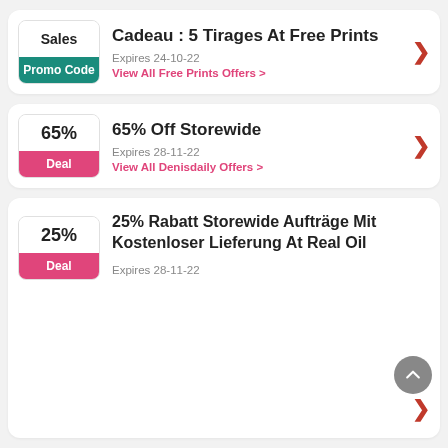Cadeau : 5 Tirages At Free Prints — Promo Code — Expires 24-10-22 — View All Free Prints Offers >
65% Off Storewide — Deal — Expires 28-11-22 — View All Denisdaily Offers >
25% Rabatt Storewide Aufträge Mit Kostenloser Lieferung At Real Oil — Deal — Expires 28-11-22